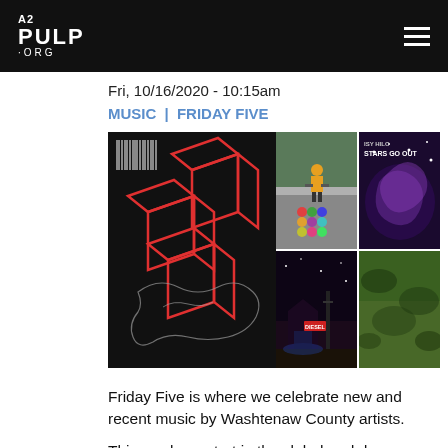A2 PULP.ORG
Fri, 10/16/2020 - 10:15am
MUSIC | FRIDAY FIVE
[Figure (photo): Collage of album artwork: left side shows a large black background image with red 3D cube wireframe geometric art; right side shows a 2x2 grid of four album covers including a skateboarder photo, 'ISY HILO STARS GO OUT' album, a dark country scene with 'Diesel' sign, and a green nature/field scene.]
Friday Five is where we celebrate new and recent music by Washtenaw County artists.
This week we start in the club, head down some dark country lanes, then head back to the dancefloor with